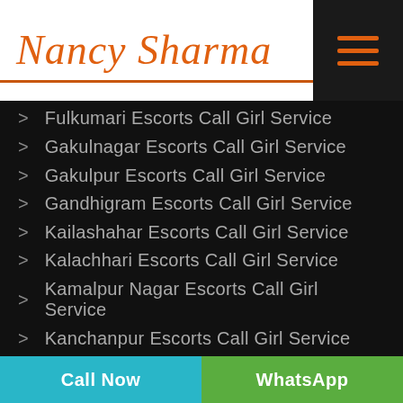Nancy Sharma
Fulkumari Escorts Call Girl Service
Gakulnagar Escorts Call Girl Service
Gakulpur Escorts Call Girl Service
Gandhigram Escorts Call Girl Service
Kailashahar Escorts Call Girl Service
Kalachhari Escorts Call Girl Service
Kamalpur Nagar Escorts Call Girl Service
Kanchanpur Escorts Call Girl Service
Call Now | WhatsApp